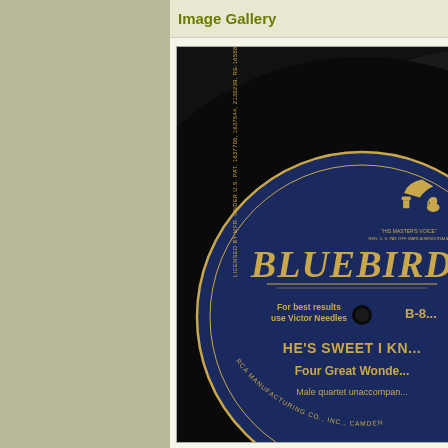Image Gallery
[Figure (photo): Close-up photograph of a Bluebird Records 78rpm vinyl record label. The label is dark navy blue with gold/tan text. It features the RCA 'His Master's Voice' logo with a dog listening to a gramophone in the upper right. The large text reads 'BLUEBIRD' across the middle. Below that: 'For best results use Victor Needles' on the left, 'B-8...' catalog number on the right, 'HE'S SWEET I KN...' as the song title, 'Four Great Wonde...' as the artist/group name, 'Male quartet unaccompan...' as a description. Around the edge: 'LICENSED BY MFR. UNDER U.S. PAT. 1637706, 1637544, 2130239, RE-16588(& OTHER PATS. PENDING) ON MANUFACTURER & ORIGINAL PURCHASER HAVE AGREED THIS RECORD SHALL NOT BE RESOLD OR USED FOR...' and 'RCA MANUFACTURING CO., INC., CAMDE...']